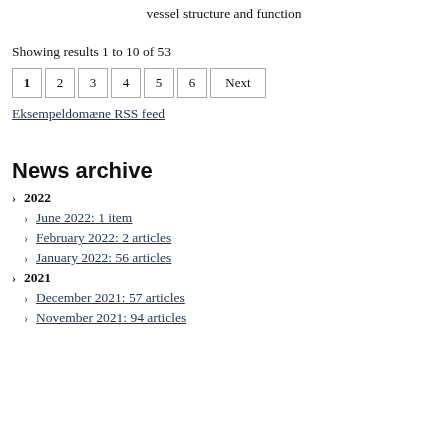vessel structure and function
Showing results 1 to 10 of 53
1 2 3 4 5 6 Next
Eksempeldomæne RSS feed
News archive
2022
June 2022: 1 item
February 2022: 2 articles
January 2022: 56 articles
2021
December 2021: 57 articles
November 2021: 94 articles